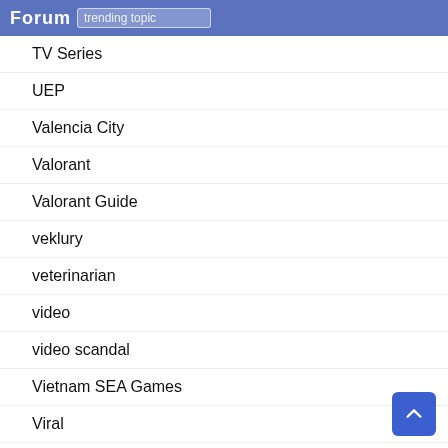trending topic
TV Series
UEP
Valencia City
Valorant
Valorant Guide
veklury
veterinarian
video
video scandal
Vietnam SEA Games
Viral
Vivo